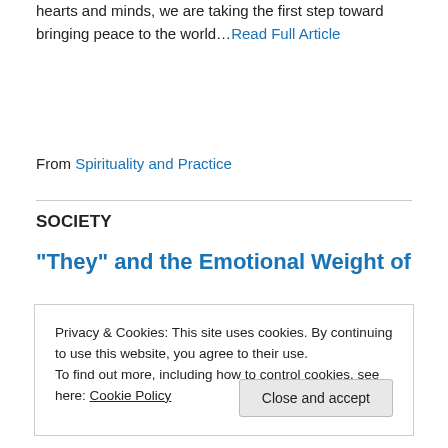hearts and minds, we are taking the first step toward bringing peace to the world…Read Full Article
From Spirituality and Practice
SOCIETY
“They” and the Emotional Weight of
Privacy & Cookies: This site uses cookies. By continuing to use this website, you agree to their use.
To find out more, including how to control cookies, see here: Cookie Policy
Close and accept